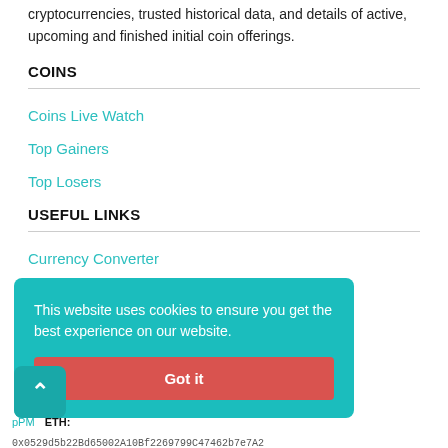cryptocurrencies, trusted historical data, and details of active, upcoming and finished initial coin offerings.
COINS
Coins Live Watch
Top Gainers
Top Losers
USEFUL LINKS
Currency Converter
Active ICO's
Upcoming ICO's
MORE
[Figure (other): Cookie consent banner with teal background, text 'This website uses cookies to ensure you get the best experience on our website.' and a red 'Got it' button. A teal scroll-to-top button with an upward arrow is partially visible at the lower left.]
pPM   ETH: 0x0529d5b22Bd65002A10Bf2269799C47462b7e7A2